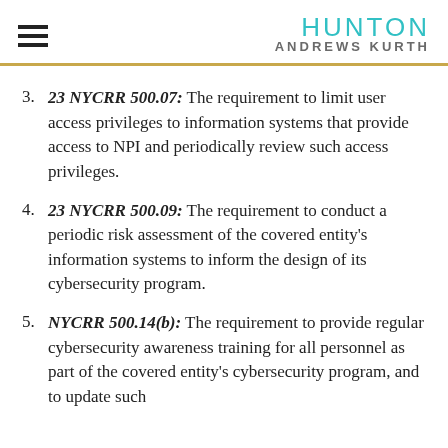HUNTON ANDREWS KURTH
23 NYCRR 500.07: The requirement to limit user access privileges to information systems that provide access to NPI and periodically review such access privileges.
23 NYCRR 500.09: The requirement to conduct a periodic risk assessment of the covered entity's information systems to inform the design of its cybersecurity program.
NYCRR 500.14(b): The requirement to provide regular cybersecurity awareness training for all personnel as part of the covered entity's cybersecurity program, and to update such